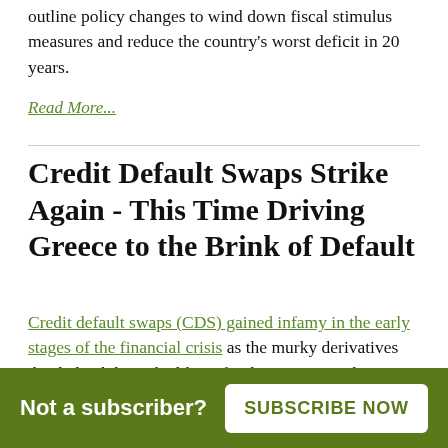outline policy changes to wind down fiscal stimulus measures and reduce the country's worst deficit in 20 years.
Read More...
Credit Default Swaps Strike Again - This Time Driving Greece to the Brink of Default
Credit default swaps (CDS) gained infamy in the early stages of the financial crisis as the murky derivatives that helped drive the likes of Lehman Bros and Bear Stearns into bankruptcy.
Now, they're back, inspiring panic in the bond
Not a subscriber? SUBSCRIBE NOW